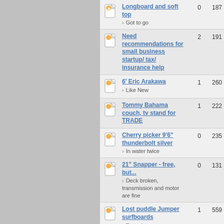Longboard and soft top · Got to go | 0 | 187
Need recommendations for small business startup/ tax/ insurance help | 2 | 191
6' Eric Arakawa · Like New | 1 | 260
Tommy Bahama couch, tv stand for TRADE | 1 | 222
Cherry picker 9'6" thunderbolt silver · In water twice | 0 | 235
21" Snapper - free, but... · Deck broken, transmission and motor are fine | 0 | 131
Lost puddle Jumper surfboards · For sale | 1 | 559
Wanted: Old Surf Magazines | 11 | 1869
BAT 5' 9" epoxy perfect condtion | 4 | 559